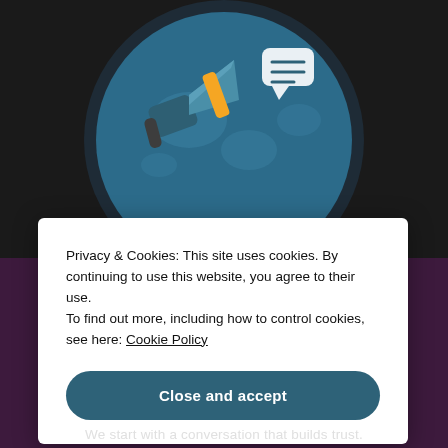[Figure (illustration): A circular illustration with a blue globe background, featuring a megaphone/loudspeaker with an orange accent and a speech bubble/chat icon, on a dark background.]
Privacy & Cookies: This site uses cookies. By continuing to use this website, you agree to their use. To find out more, including how to control cookies, see here: Cookie Policy
Close and accept
We start with a conversation that builds trust.